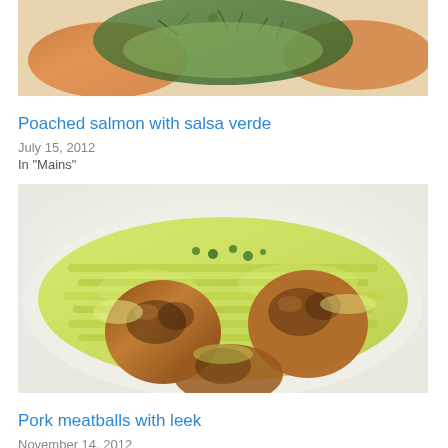[Figure (photo): Close-up of poached salmon topped with green salsa verde herb sauce]
Poached salmon with salsa verde
July 15, 2012
In "Mains"
[Figure (photo): Pork meatballs served on a bed of cooked leek in yellow-green sauce on a white plate]
Pork meatballs with leek
November 14, 2012
In "Mains"